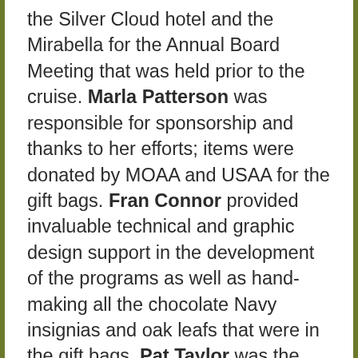the Silver Cloud hotel and the Mirabella for the Annual Board Meeting that was held prior to the cruise. Marla Patterson was responsible for sponsorship and thanks to her efforts; items were donated by MOAA and USAA for the gift bags. Fran Connor provided invaluable technical and graphic design support in the development of the programs as well as hand-making all the chocolate Navy insignias and oak leafs that were in the gift bags. Pat Taylor was the Treasurer and responsible for registration of all Nurse Corps attendees. Bonnie Bulach was the liaison and arranged for the commemorative bottle openers, a fun twist on the usual challenge coin.  Madeline Ancelard arranged the